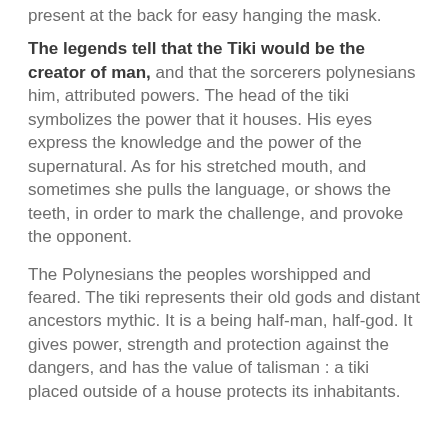present at the back for easy hanging the mask.
The legends tell that the Tiki would be the creator of man, and that the sorcerers polynesians him, attributed powers. The head of the tiki symbolizes the power that it houses. His eyes express the knowledge and the power of the supernatural. As for his stretched mouth, and sometimes she pulls the language, or shows the teeth, in order to mark the challenge, and provoke the opponent.
The Polynesians the peoples worshipped and feared. The tiki represents their old gods and distant ancestors mythic. It is a being half-man, half-god. It gives power, strength and protection against the dangers, and has the value of talisman : a tiki placed outside of a house protects its inhabitants.